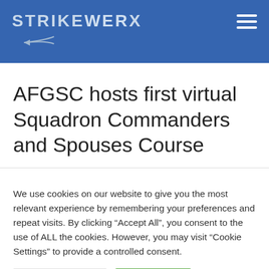STRIKEWERX
AFGSC hosts first virtual Squadron Commanders and Spouses Course
We use cookies on our website to give you the most relevant experience by remembering your preferences and repeat visits. By clicking “Accept All”, you consent to the use of ALL the cookies. However, you may visit "Cookie Settings" to provide a controlled consent.